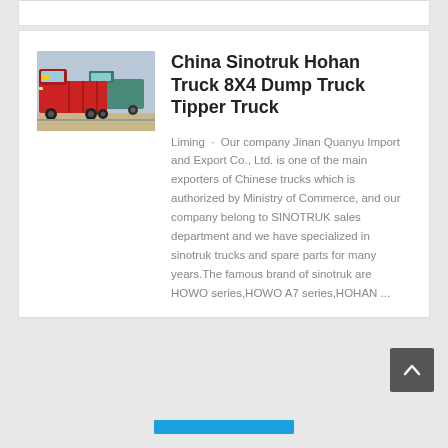[Figure (photo): Photo of red dump trucks (Sinotruk/HOWO) parked outdoors]
China Sinotruk Hohan Truck 8X4 Dump Truck Tipper Truck
Liming · Our company Jinan Quanyu Import and Export Co., Ltd. is one of the main exporters of Chinese trucks which is authorized by Ministry of Commerce, and our company belong to SINOTRUK sales department and we have specialized in sinotruk trucks and spare parts for many years.The famous brand of sinotruk are HOWO series,HOWO A7 series,HOHAN ...